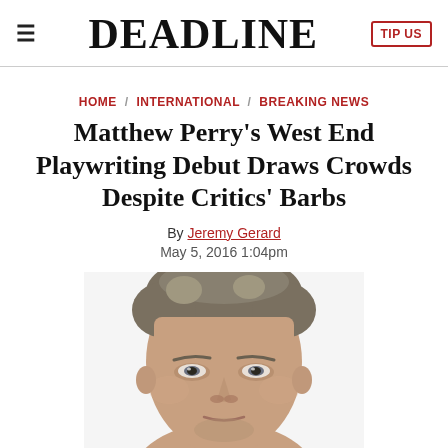≡  DEADLINE  TIP US
HOME / INTERNATIONAL / BREAKING NEWS
Matthew Perry's West End Playwriting Debut Draws Crowds Despite Critics' Barbs
By Jeremy Gerard
May 5, 2016 1:04pm
[Figure (photo): Close-up headshot photo of Matthew Perry, a middle-aged man with salt-and-pepper hair, looking directly at the camera with a neutral expression, white background]